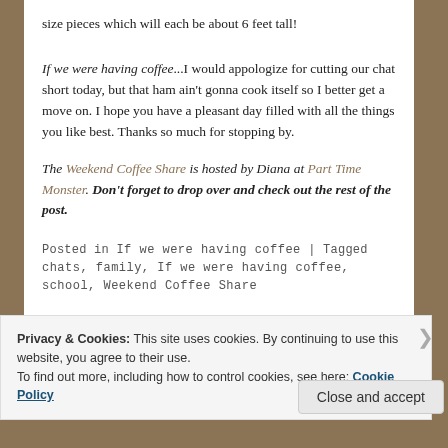size pieces which will each be about 6 feet tall!
If we were having coffee...I would appologize for cutting our chat short today, but that ham ain't gonna cook itself so I better get a move on. I hope you have a pleasant day filled with all the things you like best. Thanks so much for stopping by.
The Weekend Coffee Share is hosted by Diana at Part Time Monster. Don't forget to drop over and check out the rest of the post.
Posted in If we were having coffee | Tagged chats, family, If we were having coffee, school, Weekend Coffee Share
Privacy & Cookies: This site uses cookies. By continuing to use this website, you agree to their use. To find out more, including how to control cookies, see here: Cookie Policy